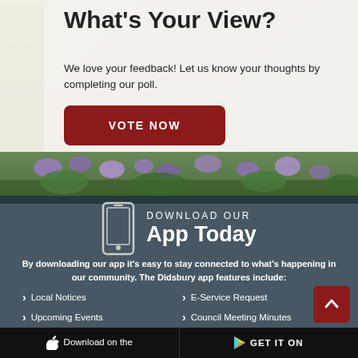What's Your View?
We love your feedback! Let us know your thoughts by completing our poll.
[Figure (other): Red 'VOTE NOW' button]
[Figure (photo): Flower hanging basket photo strip]
DOWNLOAD OUR App Today
By downloading our app it's easy to stay connected to what's happening in our community. The Didsbury app features include:
Local Notices
Upcoming Events
Alert Notifications
E-Service Request
Council Meeting Minutes
Local Weather
Download on the
GET IT ON